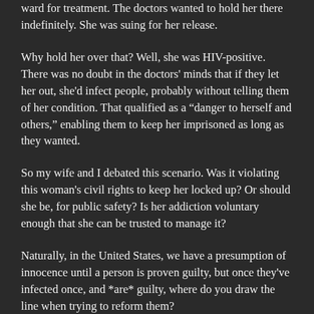ward for treatment. The doctors wanted to hold her there indefinitely. She was suing for her release.
Why hold her over that? Well, she was HIV-positive. There was no doubt in the doctors' minds that if they let her out, she'd infect people, probably without telling them of her condition. That qualified as a “danger to herself and others,” enabling them to keep her imprisoned as long as they wanted.
So my wife and I debated this scenario. Was it violating this woman's civil rights to keep her locked up? Or should she be, for public safety? Is her addiction voluntary enough that she can be trusted to manage it?
Naturally, in the United States, we have a presumption of innocence until a person is proven guilty, but once they've infected once, and *are* guilty, where do you draw the line when trying to reform them?